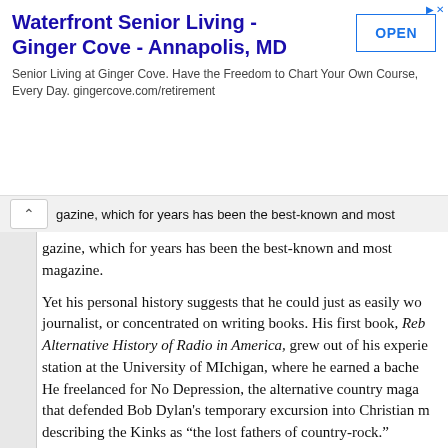[Figure (other): Advertisement banner for Waterfront Senior Living - Ginger Cove - Annapolis, MD with an OPEN button]
gazine, which for years has been the best-known and most magazine.
Yet his personal history suggests that he could just as easily wo journalist, or concentrated on writing books. His first book, Reb Alternative History of Radio in America, grew out of his experie station at the University of MIchigan, where he earned a bache He freelanced for No Depression, the alternative country maga that defended Bob Dylan's temporary excursion into Christian m describing the Kinks as “the lost fathers of country-rock.”
His wide range of interests include the wr Wilson. He appears to have read nearly e published in book form, and quite a few a from obscure libertarian journals and fanz about Robert Anton Wilson for Reason ar